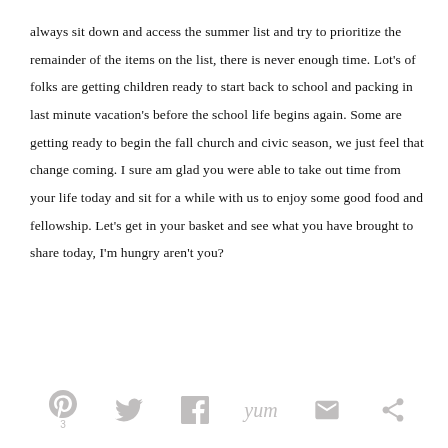always sit down and access the summer list and try to prioritize the remainder of the items on the list, there is never enough time.  Lot's of folks are getting children ready to start back to school and packing in last minute vacation's before the school life begins again.  Some are getting ready to begin the fall church and civic season, we just feel that change coming.  I sure am glad you were able to take out time from your life today and sit for a while with us to enjoy some good food and fellowship.  Let's get in your basket and see what you have brought to share today, I'm hungry aren't you?
[Figure (infographic): Social sharing icons bar at bottom of page: Pinterest (with count 3), Twitter, Facebook, Yummly, Email, and another share icon, all in light gray color]